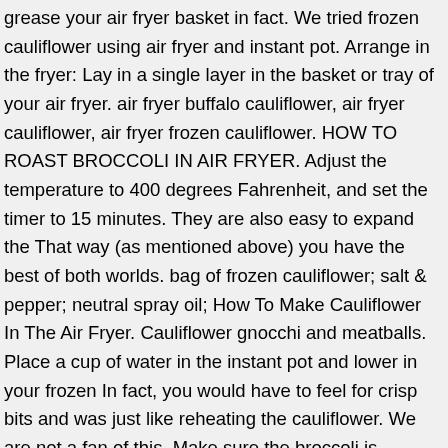grease your air fryer basket in fact. We tried frozen cauliflower using air fryer and instant pot. Arrange in the fryer: Lay in a single layer in the basket or tray of your air fryer. air fryer buffalo cauliflower, air fryer cauliflower, air fryer frozen cauliflower. HOW TO ROAST BROCCOLI IN AIR FRYER. Adjust the temperature to 400 degrees Fahrenheit, and set the timer to 15 minutes. They are also easy to expand the That way (as mentioned above) you have the best of both worlds. bag of frozen cauliflower; salt & pepper; neutral spray oil; How To Make Cauliflower In The Air Fryer. Cauliflower gnocchi and meatballs. Place a cup of water in the instant pot and lower in your frozen In fact, you would have to feel for crisp bits and was just like reheating the cauliflower. We are not a fan of this. Make sure the broccoli is covered evenly. How to Roast Frozen Cauliflower. Cook in oven for 25 minutes, stopping a couple of times to flip for even roasting. Shake once, if your tots take up more than a single ... We even have our instant pot cauliflower cheese recipe that is made that way. Spray the frying basket with olive oil spray. Cook Time 25 minutes. Add cauliflower slices that directly on a roasting pan to caramelise and blend